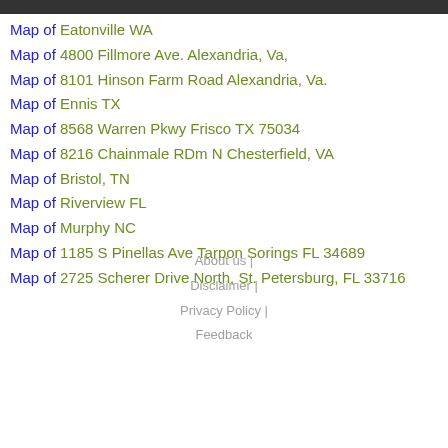Map of Eatonville WA
Map of 4800 Fillmore Ave. Alexandria, Va,
Map of 8101 Hinson Farm Road Alexandria, Va.
Map of Ennis TX
Map of 8568 Warren Pkwy Frisco TX 75034
Map of 8216 Chainmale RDm N Chesterfield, VA
Map of Bristol, TN
Map of Riverview FL
Map of Murphy NC
Map of 1185 S Pinellas Ave Tarpon Sorings FL 34689
Map of 2725 Scherer Drive North, St. Petersburg, FL 33716
About us | Disclaimer | Privacy Policy | Feedback